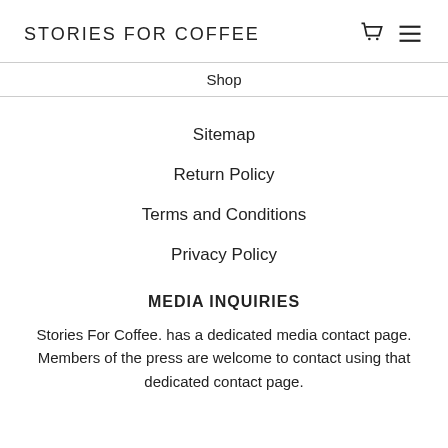STORIES FOR COFFEE
Shop
Sitemap
Return Policy
Terms and Conditions
Privacy Policy
MEDIA INQUIRIES
Stories For Coffee. has a dedicated media contact page. Members of the press are welcome to contact using that dedicated contact page.